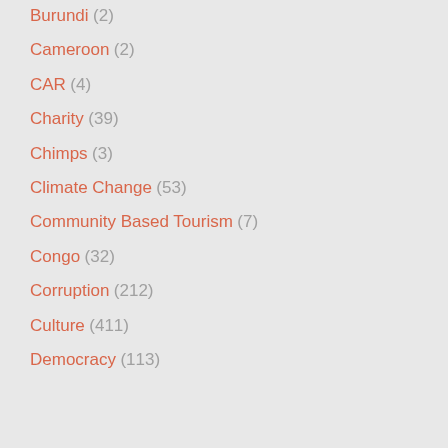Burundi (2)
Cameroon (2)
CAR (4)
Charity (39)
Chimps (3)
Climate Change (53)
Community Based Tourism (7)
Congo (32)
Corruption (212)
Culture (411)
Democracy (113)